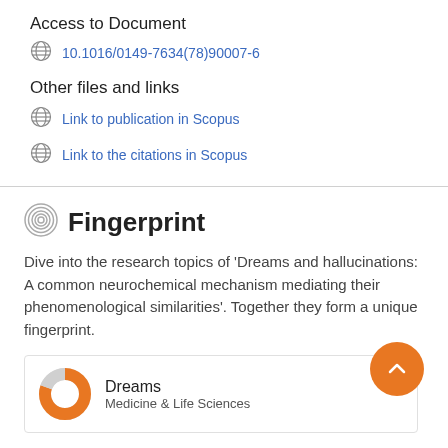Access to Document
10.1016/0149-7634(78)90007-6
Other files and links
Link to publication in Scopus
Link to the citations in Scopus
Fingerprint
Dive into the research topics of 'Dreams and hallucinations: A common neurochemical mechanism mediating their phenomenological similarities'. Together they form a unique fingerprint.
Dreams
Medicine & Life Sciences